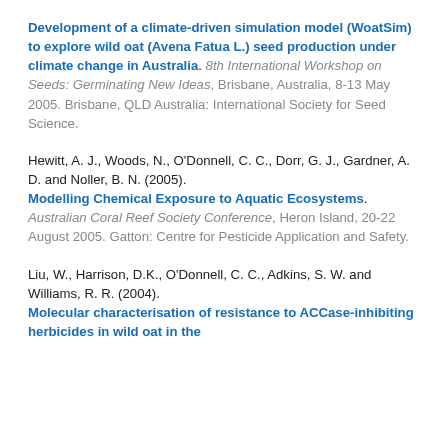Development of a climate-driven simulation model (WoatSim) to explore wild oat (Avena Fatua L.) seed production under climate change in Australia. 8th International Workshop on Seeds: Germinating New Ideas, Brisbane, Australia, 8-13 May 2005. Brisbane, QLD Australia: International Society for Seed Science.
Hewitt, A. J., Woods, N., O'Donnell, C. C., Dorr, G. J., Gardner, A. D. and Noller, B. N. (2005). Modelling Chemical Exposure to Aquatic Ecosystems. Australian Coral Reef Society Conference, Heron Island, 20-22 August 2005. Gatton: Centre for Pesticide Application and Safety.
Liu, W., Harrison, D.K., O'Donnell, C. C., Adkins, S. W. and Williams, R. R. (2004). Molecular characterisation of resistance to ACCase-inhibiting herbicides in wild oat in the...